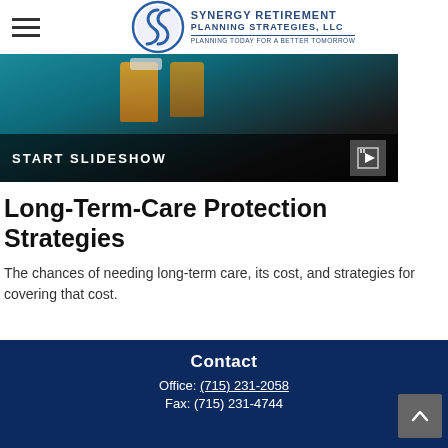[Figure (logo): Synergy Retirement Planning Strategies, LLC logo with circular S graphic and company name text]
[Figure (screenshot): Slideshow banner with medication bottles on teal background, with START SLIDESHOW text overlay and play button icon]
Long-Term-Care Protection Strategies
The chances of needing long-term care, its cost, and strategies for covering that cost.
Contact
Office: (715) 231-2058
Fax: (715) 231-4744